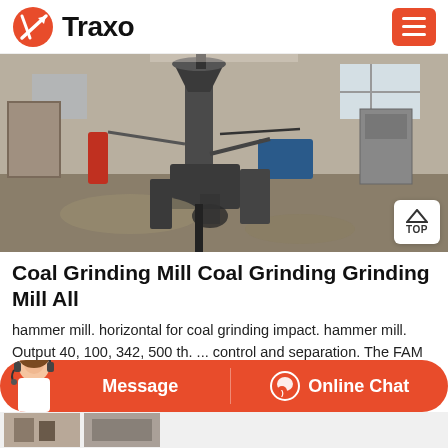Traxo
[Figure (photo): Industrial coal grinding mill equipment inside a factory/warehouse. Large metal machinery with pipes, tanks and mechanical components visible. Concrete floor with debris. Workers or equipment visible at base.]
Coal Grinding Mill Coal Grinding Grinding Mill All
hammer mill. horizontal for coal grinding impact. hammer mill. Output 40, 100, 342, 500 th. ... control and separation. The FAM product range includes impact mills, roller mills, hammer mills, ball mills and rod mills, as well as appropriate roller screens. Compare this product Remove from comparison tool.